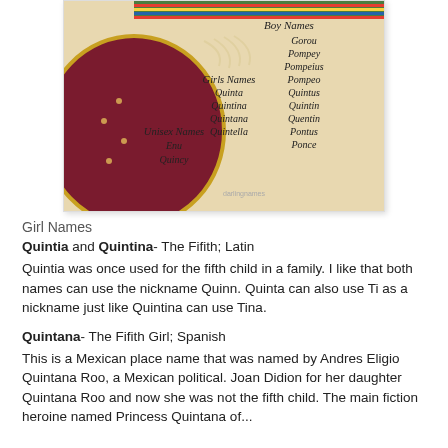[Figure (photo): A decorative image showing a Mexican sombrero hat with colorful fabric, and handwritten script listing Girl Names (Quinta, Quintina, Quintana, Quintella), Boy Names (Gorou, Pompey, Pompeius, Pompeo, Quintus, Quintin, Quentin, Pontus, Ponce), and Unisex Names (Enu, Quincy).]
Girl Names
Quintia and Quintina- The Fifith; Latin
Quintia was once used for the fifth child in a family. I like that both names can use the nickname Quinn. Quinta can also use Ti as a nickname just like Quintina can use Tina.
Quintana- The Fifith Girl; Spanish
This is a Mexican place name that was named by Andres Eligio Quintana Roo, a Mexican political. Joan Didion for her daughter Quintana Roo and now she was not the fifth child. The main fiction heroine named Princess Quintana of...